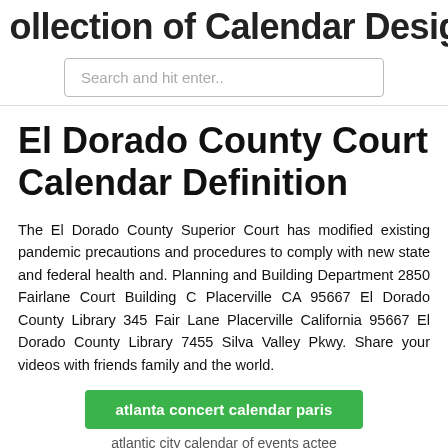ollection of Calendar Design Exampl
Search and hit enter..
El Dorado County Court Calendar Definition
The El Dorado County Superior Court has modified existing pandemic precautions and procedures to comply with new state and federal health and. Planning and Building Department 2850 Fairlane Court Building C Placerville CA 95667 El Dorado County Library 345 Fair Lane Placerville California 95667 El Dorado County Library 7455 Silva Valley Pkwy. Share your videos with friends family and the world.
atlanta concert calendar paris
atlantic city calendar of events actee